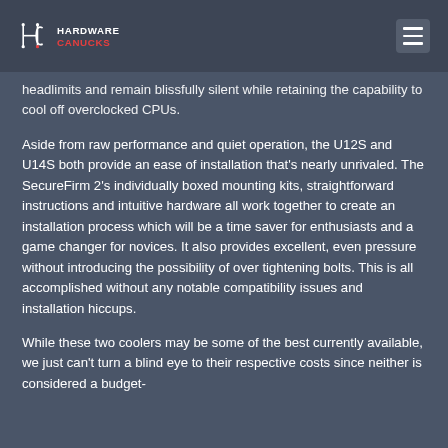Hardware Canucks
headlimits and remain blissfully silent while retaining the capability to cool off overclocked CPUs.
Aside from raw performance and quiet operation, the U12S and U14S both provide an ease of installation that's nearly unrivaled. The SecureFirm 2's individually boxed mounting kits, straightforward instructions and intuitive hardware all work together to create an installation process which will be a time saver for enthusiasts and a game changer for novices. It also provides excellent, even pressure without introducing the possibility of over tightening bolts. This is all accomplished without any notable compatibility issues and installation hiccups.
While these two coolers may be some of the best currently available, we just can't turn a blind eye to their respective costs since neither is considered a budget-